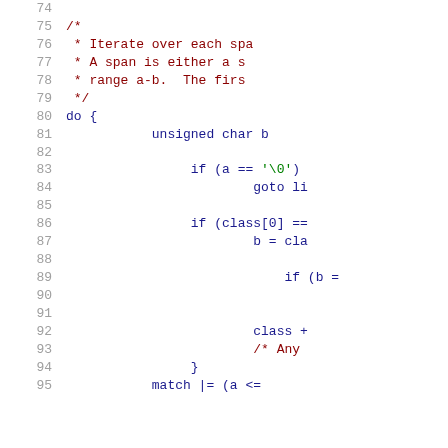Source code listing lines 74-95 showing C code with line numbers, comments, and syntax-highlighted code including a do-loop iterating over character spans with conditionals checking for null character, class array, and match operations.